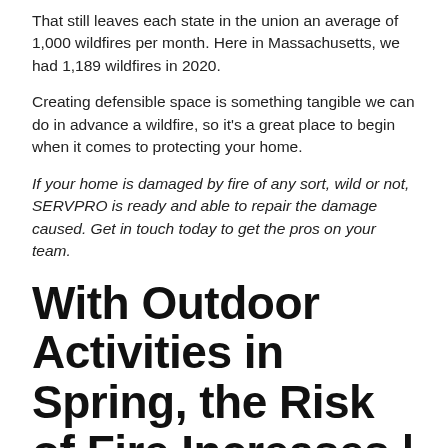That still leaves each state in the union an average of 1,000 wildfires per month. Here in Massachusetts, we had 1,189 wildfires in 2020.
Creating defensible space is something tangible we can do in advance a wildfire, so it's a great place to begin when it comes to protecting your home.
If your home is damaged by fire of any sort, wild or not, SERVPRO is ready and able to repair the damage caused. Get in touch today to get the pros on your team.
With Outdoor Activities in Spring, the Risk of Fire Increases | SERVPRO® of Roslindale/Hyde Park